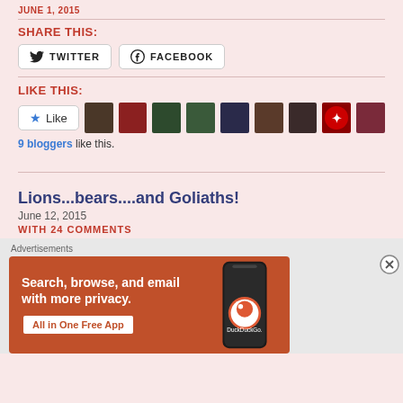JUNE 1, 2015
SHARE THIS:
TWITTER | FACEBOOK
LIKE THIS:
9 bloggers like this.
Lions...bears....and Goliaths!
June 12, 2015
WITH 24 COMMENTS
[Figure (screenshot): DuckDuckGo advertisement: Search, browse, and email with more privacy. All in One Free App. Shows a smartphone with DuckDuckGo logo.]